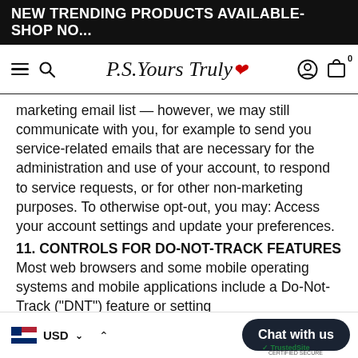NEW TRENDING PRODUCTS AVAILABLE- SHOP NO...
[Figure (logo): P.S. Yours Truly script logo with red kiss mark, navigation bar with hamburger menu, search, account and cart icons]
marketing email list — however, we may still communicate with you, for example to send you service-related emails that are necessary for the administration and use of your account, to respond to service requests, or for other non-marketing purposes. To otherwise opt-out, you may: Access your account settings and update your preferences.
11. CONTROLS FOR DO-NOT-TRACK FEATURES
Most web browsers and some mobile operating systems and mobile applications include a Do-Not-Track ("DNT") feature or setting you can activate to signal your privacy preferences not to have data about your online browsing activity monitored and collected. At this stage no uniform techno...